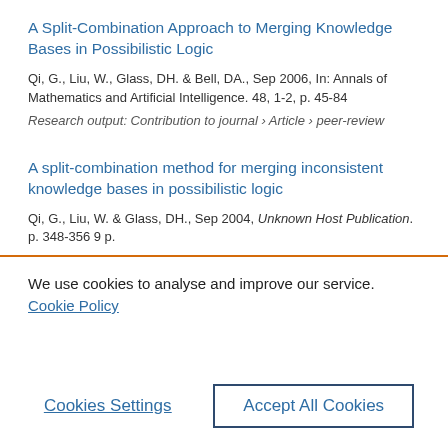A Split-Combination Approach to Merging Knowledge Bases in Possibilistic Logic
Qi, G., Liu, W., Glass, DH. & Bell, DA., Sep 2006, In: Annals of Mathematics and Artificial Intelligence. 48, 1-2, p. 45-84
Research output: Contribution to journal › Article › peer-review
A split-combination method for merging inconsistent knowledge bases in possibilistic logic
Qi, G., Liu, W. & Glass, DH., Sep 2004, Unknown Host Publication. p. 348-356 9 p.
We use cookies to analyse and improve our service.  Cookie Policy
Cookies Settings
Accept All Cookies